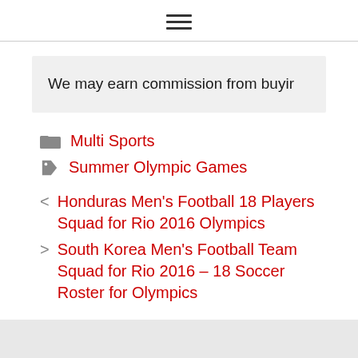≡
We may earn commission from buyin
Multi Sports
Summer Olympic Games
< Honduras Men's Football 18 Players Squad for Rio 2016 Olympics
> South Korea Men's Football Team Squad for Rio 2016 – 18 Soccer Roster for Olympics